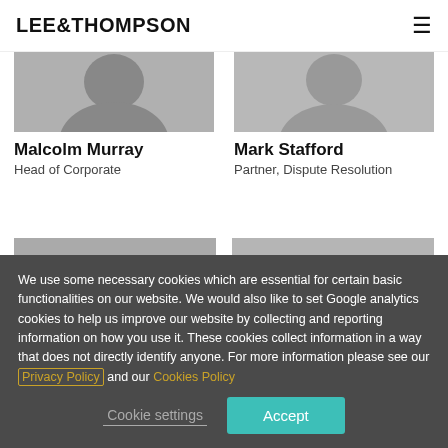LEE&THOMPSON
[Figure (photo): Black and white photo of Malcolm Murray, cropped head/shoulders]
Malcolm Murray
Head of Corporate
[Figure (photo): Black and white photo of Mark Stafford, cropped head/shoulders]
Mark Stafford
Partner, Dispute Resolution
[Figure (photo): Black and white photo, second row left, partially visible]
[Figure (photo): Black and white photo, second row right, partially visible]
We use some necessary cookies which are essential for certain basic functionalities on our website. We would also like to set Google analytics cookies to help us improve our website by collecting and reporting information on how you use it. These cookies collect information in a way that does not directly identify anyone. For more information please see our Privacy Policy and our Cookies Policy
Cookie settings
Accept